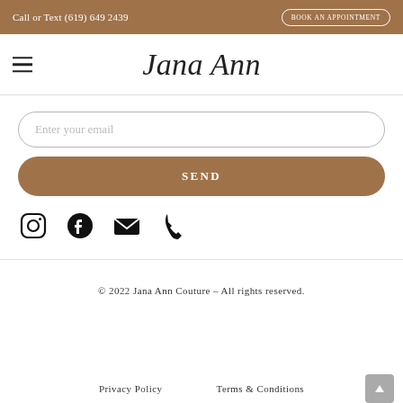Call or Text (619) 649 2439 | BOOK AN APPOINTMENT
Jana Ann
[Figure (other): Hamburger menu icon (three horizontal lines)]
Enter your email
SEND
[Figure (other): Social media icons: Instagram, Facebook, Email, Phone]
© 2022 Jana Ann Couture – All rights reserved.
Privacy Policy   Terms & Conditions